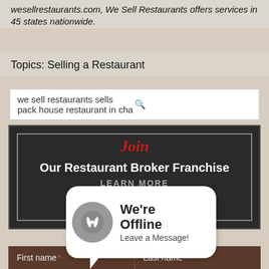wesellrestaurants.com, We Sell Restaurants offers services in 45 states nationwide.
Topics: Selling a Restaurant
we sell restaurants sells pack house restaurant in cha🔍
[Figure (infographic): Dark banner with red cursive 'Join' text and white bold text 'Our Restaurant Broker Franchise' with 'LEARN MORE' below, inside a bordered rectangle on dark background]
[Figure (infographic): Offline chat bubble widget: gray circle icon with fork and knife, white speech bubble saying 'We're Offline Leave a Message!']
First name* | Last name